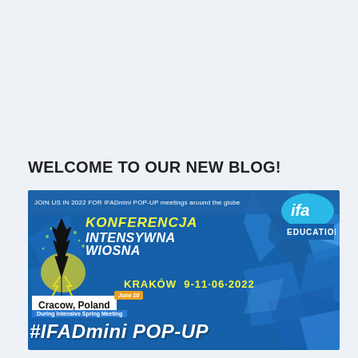WELCOME TO OUR NEW BLOG!
[Figure (photo): Conference promotional banner for 'Konferencja Intensywna Wiosna' (Intensive Spring Conference) in Kraków, Poland, 9-11.06.2022, featuring IFADmini POP-UP meeting. IFA Education logo shown in top right. Text includes 'JOIN US IN 2022 FOR IFADmini POP-UP meetings around the globe', 'Cracow, Poland', 'June 10', 'During Intensive Spring Meeting', '#IFADmini POP-UP'. Background features blue crystal imagery.]